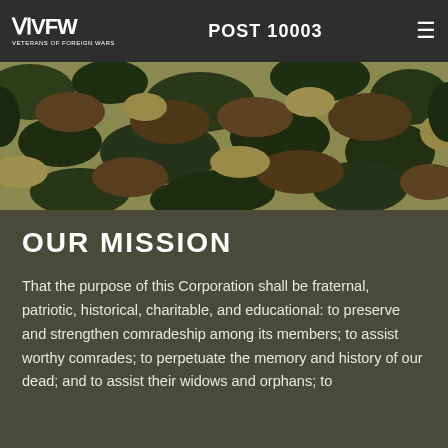VFW VETERANS OF FOREIGN WARS POST 10003
[Figure (photo): Close-up photograph of military camouflage fabric in green, brown, and tan patterns]
OUR MISSION
That the purpose of this Corporation shall be fraternal, patriotic, historical, charitable, and educational: to preserve and strengthen comradeship among its members; to assist worthy comrades; to perpetuate the memory and history of our dead; and to assist their widows and orphans; to